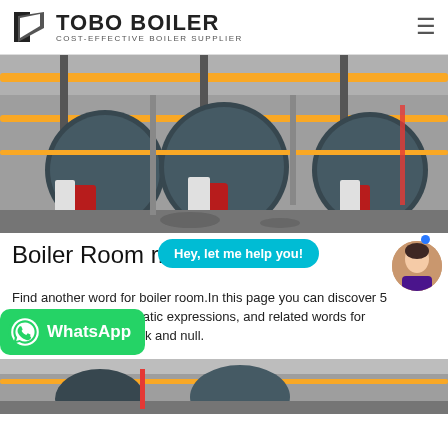TOBO BOILER – COST-EFFECTIVE BOILER SUPPLIER
[Figure (photo): Industrial boiler room with three large blue cylindrical boilers connected by yellow pipes and orange overhead piping]
Boiler Room ...r.
Find another word for boiler room. In this page you can discover 5 ...matic expressions, and related words for stockbrokerage, ticktack and null.
[Figure (photo): Second boiler room photo partially visible at bottom of page]